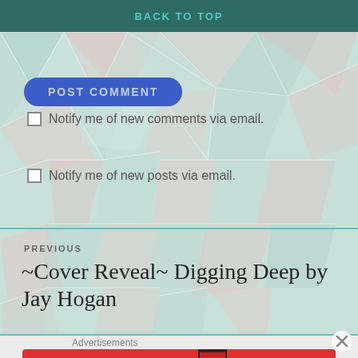BACK TO TOP
[Figure (screenshot): POST COMMENT button - blue rounded rectangle]
Notify me of new comments via email.
Notify me of new posts via email.
PREVIOUS
~Cover Reveal~ Digging Deep by Jay Hogan
Advertisements
[Figure (screenshot): Pocket Casts advertisement banner - red background with text 'An app by listeners, for listeners.' and Pocket Casts logo]